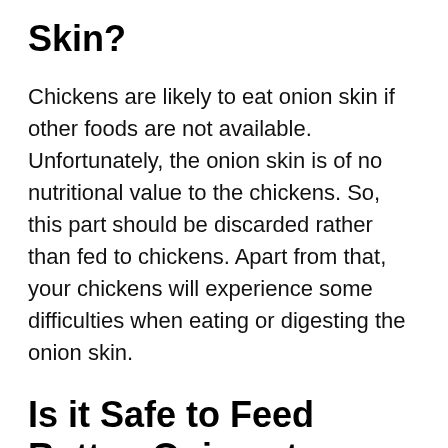Skin?
Chickens are likely to eat onion skin if other foods are not available. Unfortunately, the onion skin is of no nutritional value to the chickens. So, this part should be discarded rather than fed to chickens. Apart from that, your chickens will experience some difficulties when eating or digesting the onion skin.
Is it Safe to Feed Rotten Onions to Chickens?